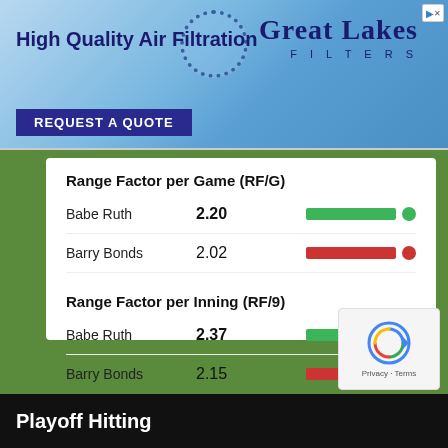[Figure (screenshot): Advertisement banner for Great Lakes Filters — High Quality Air Filtration with REQUEST A QUOTE button]
Range Factor per Game (RF/G)
Babe Ruth  2.20
Barry Bonds  2.02
Range Factor per Inning (RF/9)
Babe Ruth  2.37
Barry Bonds  2.15
Playoff Hitting